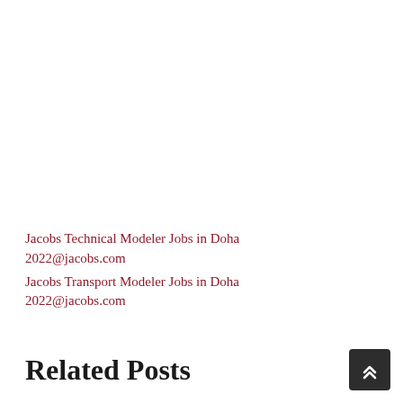Jacobs Technical Modeler Jobs in Doha 2022@jacobs.com
Jacobs Transport Modeler Jobs in Doha 2022@jacobs.com
Related Posts